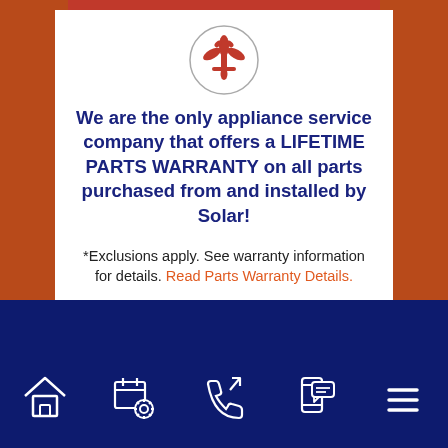[Figure (logo): Red fleur-de-lis symbol inside a circle, company logo for Solar appliance service]
We are the only appliance service company that offers a LIFETIME PARTS WARRANTY on all parts purchased from and installed by Solar!
*Exclusions apply. See warranty information for details. Read Parts Warranty Details.
[Figure (infographic): Dark navy blue navigation bar with 5 white outline icons: house/home, calendar with gear, phone with arrow (callback), mobile phone with chat bubble, and hamburger menu lines]